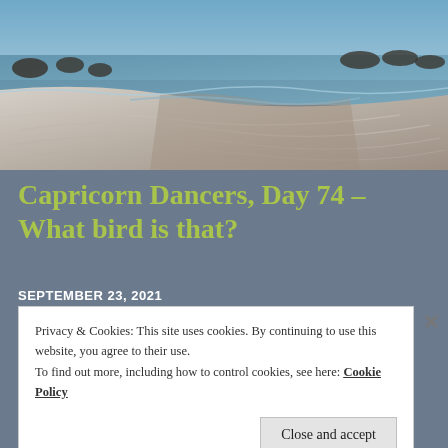[Figure (photo): Beach photo showing rippled sandy shore with rocks and ocean water in the background under a blue sky]
Capricorn Dancers, Day 74 – What bird is that?
SEPTEMBER 23, 2021
Privacy & Cookies: This site uses cookies. By continuing to use this website, you agree to their use.
To find out more, including how to control cookies, see here: Cookie Policy
Close and accept